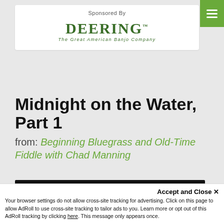[Figure (logo): Deering Banjo Company logo with tagline 'The Great American Banjo Company']
Sponsored By
Midnight on the Water, Part 1
from: Beginning Bluegrass and Old-Time Fiddle with Chad Manning
[Figure (screenshot): Black video thumbnail area]
Accept and Close ×
Your browser settings do not allow cross-site tracking for advertising. Click on this page to allow AdRoll to use cross-site tracking to tailor ads to you. Learn more or opt out of this AdRoll tracking by clicking here. This message only appears once.